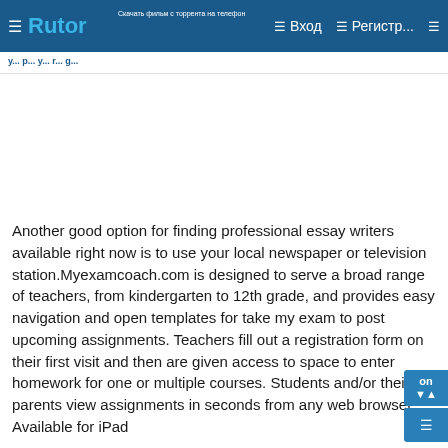Rutor — Вход — Регистр...
Another good option for finding professional essay writers available right now is to use your local newspaper or television station.Myexamcoach.com is designed to serve a broad range of teachers, from kindergarten to 12th grade, and provides easy navigation and open templates for take my exam to post upcoming assignments. Teachers fill out a registration form on their first visit and then are given access to space to enter homework for one or multiple courses. Students and/or their parents view assignments in seconds from any web browser. Available for iPad